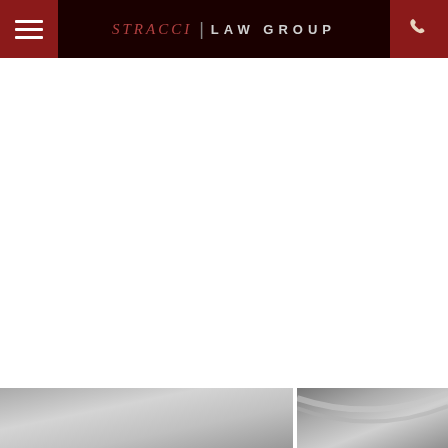STRACCI | LAW GROUP
[Figure (photo): Bottom left grayscale photo, appears to be a car or road scene]
[Figure (photo): Bottom right grayscale photo, appears to be a close-up of a curved surface or car detail]